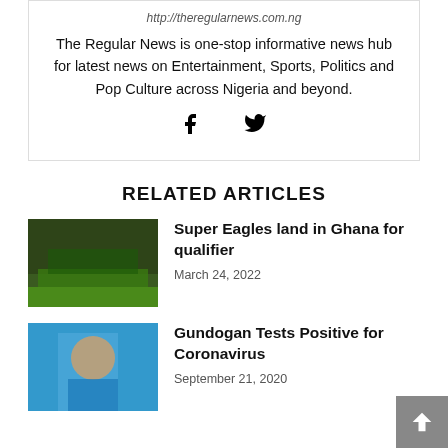http://theregularnews.com.ng
The Regular News is one-stop informative news hub for latest news on Entertainment, Sports, Politics and Pop Culture across Nigeria and beyond.
[Figure (other): Facebook and Twitter social icons]
RELATED ARTICLES
[Figure (photo): Super Eagles team photo on a football pitch]
Super Eagles land in Ghana for qualifier
March 24, 2022
[Figure (photo): Gundogan player photo in blue jersey]
Gundogan Tests Positive for Coronavirus
September 21, 2020